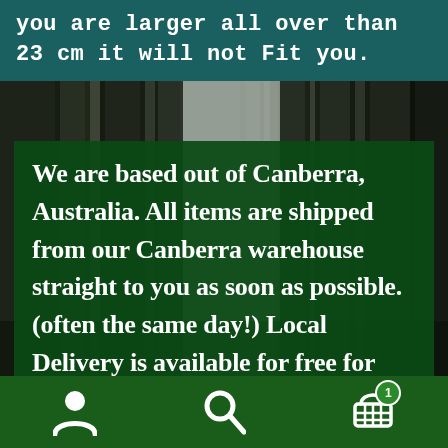you are larger all over than 23 cm it will not fit you.
[Figure (photo): Forest background with tall dark tree trunks and light filtering through, forming a moody woodland scene.]
We are based out of Canberra, Australia. All items are shipped from our Canberra warehouse straight to you as soon as possible. (often the same day!)  Local Delivery is available for free for Canberra and the surrounding areas.  so what are
[Figure (infographic): Mobile navigation bar at the bottom with user icon, search icon, and shopping cart icon with badge showing 1 item.]